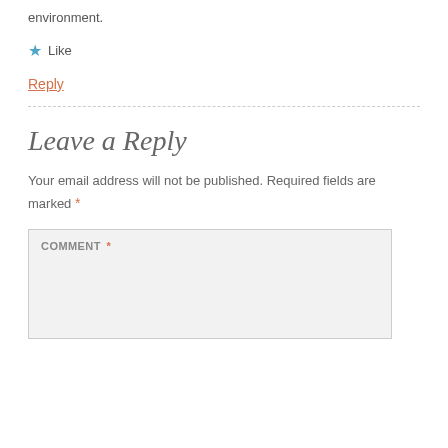environment.
★ Like
Reply
Leave a Reply
Your email address will not be published. Required fields are marked *
COMMENT *